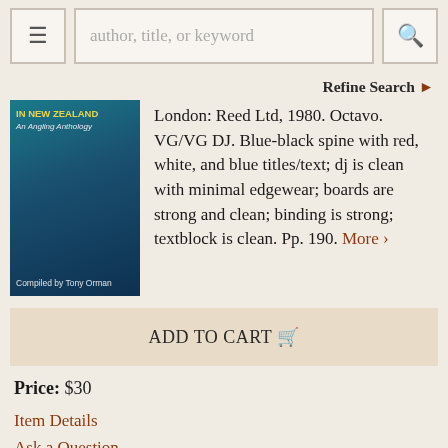author, title, or keyword [search bar] Refine Search
Refine Search
[Figure (photo): Book cover of 'In New Zealand: An Angling Anthology' compiled by Tony Orman, dark blue-teal tones with water/night scene]
London: Reed Ltd, 1980. Octavo. VG/VG DJ. Blue-black spine with red, white, and blue titles/text; dj is clean with minimal edgewear; boards are strong and clean; binding is strong; textblock is clean. Pp. 190. More ›
ADD TO CART 🛒
Price: $30
Item Details
Ask a Question
1291023
Full-priced Rockville